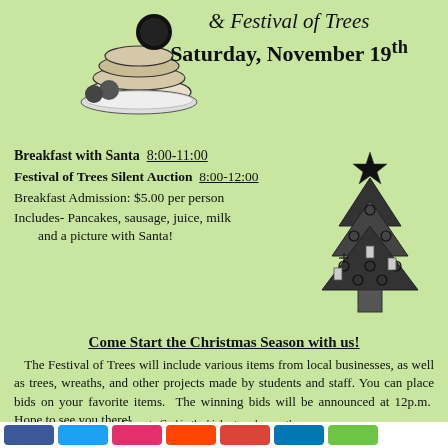[Figure (illustration): Illustration of a stack of pancakes with Santa figure and plate]
& Festival of Trees Saturday, November 19th
[Figure (illustration): Decorated Christmas tree illustration with ornaments, candles, and star on top]
Breakfast with Santa 8:00-11:00
Festival of Trees Silent Auction 8:00-12:00
Breakfast Admission: $5.00 per person
Includes- Pancakes, sausage, juice, milk and a picture with Santa!
Come Start the Christmas Season with us!
The Festival of Trees will include various items from local businesses, as well as trees, wreaths, and other projects made by students and staff. You can place bids on your favorite items. The winning bids will be announced at 12p.m. Hope to see you there!
Glory to God in the highest, and on earth, peace, good will toward men. Luke 2:14